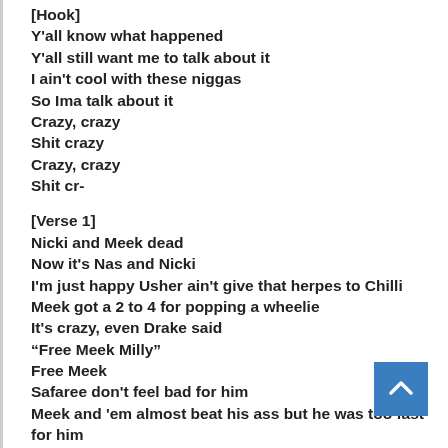[Hook]
Y'all know what happened
Y'all still want me to talk about it
I ain't cool with these niggas
So Ima talk about it
Crazy, crazy
Shit crazy
Crazy, crazy
Shit cr-
[Verse 1]
Nicki and Meek dead
Now it's Nas and Nicki
I'm just happy Usher ain't give that herpes to Chilli
Meek got a 2 to 4 for popping a wheelie
It's crazy, even Drake said
“Free Meek Milly”
Free Meek
Safaree don't feel bad for him
Meek and 'em almost beat his ass but he was too fast for him
Kaepernick spoke to Meek Mill
That's dope
Tell Nicki Minaj brother